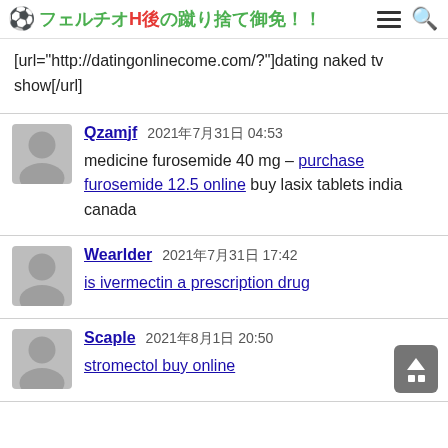⚽ フェルチオH後の蹴り捨て御免！！
[url="http://datingonlinecome.com/?"]dating naked tv show[/url]
Qzamjf  2021年7月31日 04:53
medicine furosemide 40 mg – purchase furosemide 12.5 online buy lasix tablets india canada
Wearlder  2021年7月31日 17:42
is ivermectin a prescription drug
Scaple  2021年8月1日 20:50
stromectol buy online